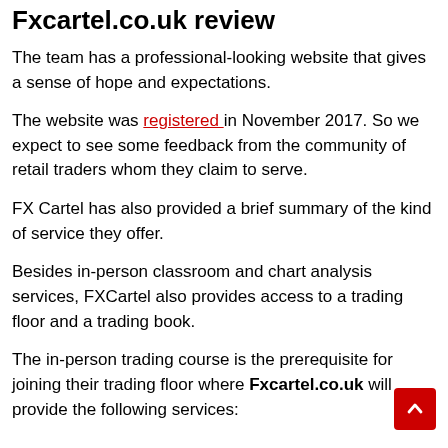Fxcartel.co.uk review
The team has a professional-looking website that gives a sense of hope and expectations.
The website was registered in November 2017. So we expect to see some feedback from the community of retail traders whom they claim to serve.
FX Cartel has also provided a brief summary of the kind of service they offer.
Besides in-person classroom and chart analysis services, FXCartel also provides access to a trading floor and a trading book.
The in-person trading course is the prerequisite for joining their trading floor where Fxcartel.co.uk will provide the following services: